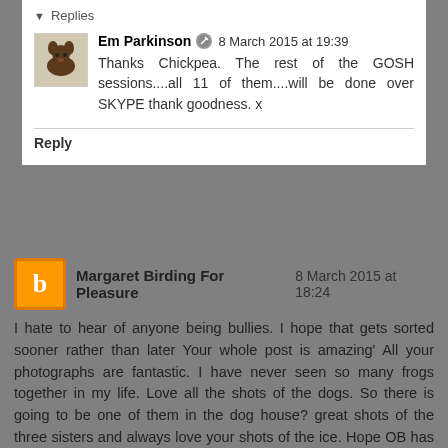Replies
Em Parkinson  8 March 2015 at 19:39
Thanks Chickpea. The rest of the GOSH sessions....all 11 of them....will be done over SKYPE thank goodness. x
Reply
Margaret Birding For Pleasure  8 March 2015 at 18:24
I hate to hear of anyone being bullies. I hope that gets sorted sooner rather than later Your whole post is amazing' All your photographs are fantastic. I have never seen so many frogs together in my life. Love all the shots of the dogs. So there is going to be one of them in the dog house? great shots of the three sisters and always love your shots of the ice. Hope OB has a good week as well as you.
Reply